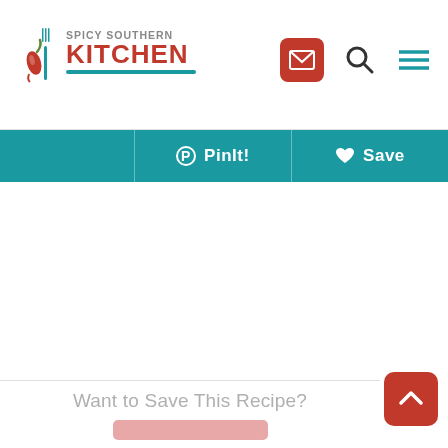Spicy Southern Kitchen
[Figure (screenshot): Website header toolbar with PinIt! and Save buttons on teal background]
Want to Save This Recipe?